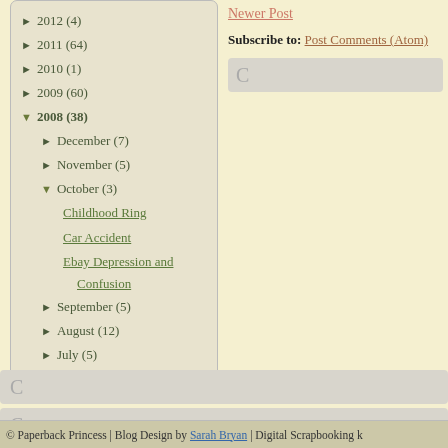► 2012 (4)
► 2011 (64)
► 2010 (1)
► 2009 (60)
▼ 2008 (38)
► December (7)
► November (5)
▼ October (3)
Childhood Ring
Car Accident
Ebay Depression and Confusion
► September (5)
► August (12)
► July (5)
► May (1)
Newer Post
Subscribe to: Post Comments (Atom)
© Paperback Princess | Blog Design by Sarah Bryan | Digital Scrapbooking k